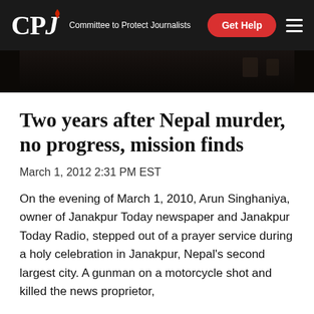CPJ — Committee to Protect Journalists
[Figure (photo): Dark photograph strip showing a dimly lit interior scene]
Two years after Nepal murder, no progress, mission finds
March 1, 2012 2:31 PM EST
On the evening of March 1, 2010, Arun Singhaniya, owner of Janakpur Today newspaper and Janakpur Today Radio, stepped out of a prayer service during a holy celebration in Janakpur, Nepal's second largest city. A gunman on a motorcycle shot and killed the news proprietor,